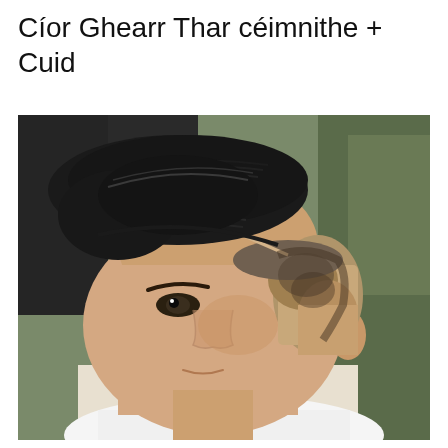Cíor Ghearr Thar céimnithe + Cuid
[Figure (photo): A young man with a styled comb-over fade haircut, viewed from a three-quarter profile angle. The hair on top is combed to the side with a hard part, and the sides are faded/tapered short. He is wearing a white shirt. The background shows a barbershop setting.]